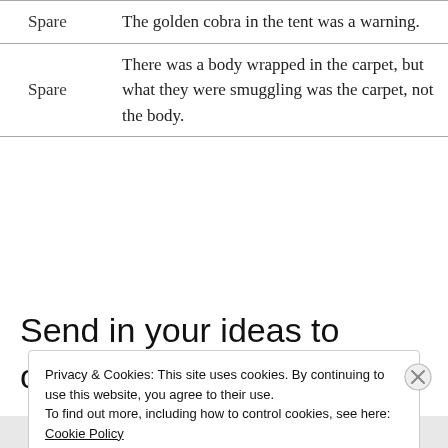|  |  |
| --- | --- |
| Spare | The golden cobra in the tent was a warning. |
| Spare | There was a body wrapped in the carpet, but what they were smuggling was the carpet, not the body. |
Send in your ideas to oddprompts@gmail.com, and see you in the comments!
Privacy & Cookies: This site uses cookies. By continuing to use this website, you agree to their use.
To find out more, including how to control cookies, see here:
Cookie Policy
Close and accept